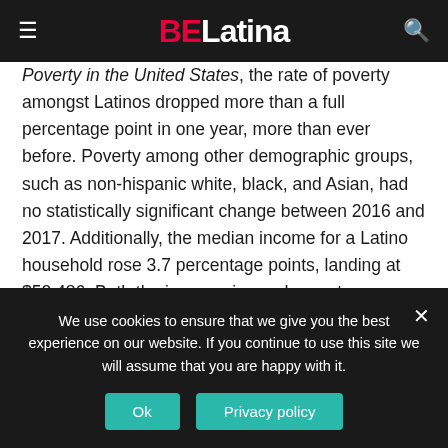BELatina
Poverty in the United States, the rate of poverty amongst Latinos dropped more than a full percentage point in one year, more than ever before. Poverty among other demographic groups, such as non-hispanic white, black, and Asian, had no statistically significant change between 2016 and 2017. Additionally, the median income for a Latino household rose 3.7 percentage points, landing at $50,486. Both the income rise and poverty alleviation have been the trend for Latino households over the last three years.
We use cookies to ensure that we give you the best experience on our website. If you continue to use this site we will assume that you are happy with it.